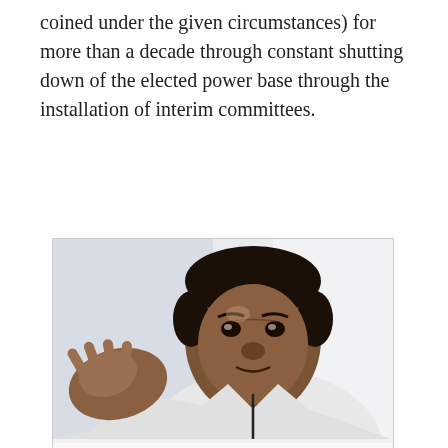coined under the given circumstances) for more than a decade through constant shutting down of the elected power base through the installation of interim committees.
[Figure (photo): Portrait photograph of Thilanga Sumathipala, a man in a white shirt gesturing with his hand toward the camera]
Thilanga Sumathipala
The newly elected Sri Lanka Cricket (SLC) President, Sumathipala, has gone through the mill of cricket governance seeing the yo-yo effects of these experiences. Yet, he lived with his passion for cricket through all the